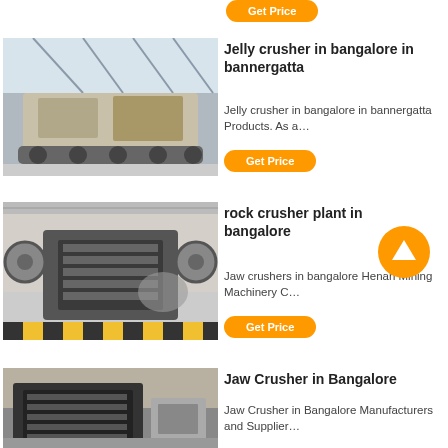[Figure (other): Orange Get Price button at top of page]
[Figure (photo): Mobile rock crusher plant machine in a large industrial warehouse]
Jelly crusher in bangalore in bannergatta
Jelly crusher in bangalore in bannergatta Products. As a…
[Figure (other): Orange Get Price button]
[Figure (photo): Jaw crusher machine in an industrial factory setting]
rock crusher plant in bangalore
Jaw crushers in bangalore Henan Mining Machinery C…
[Figure (other): Orange Get Price button]
[Figure (photo): Jaw crusher machine in Bangalore, large industrial equipment]
Jaw Crusher in Bangalore
Jaw Crusher in Bangalore Manufacturers and Supplier…